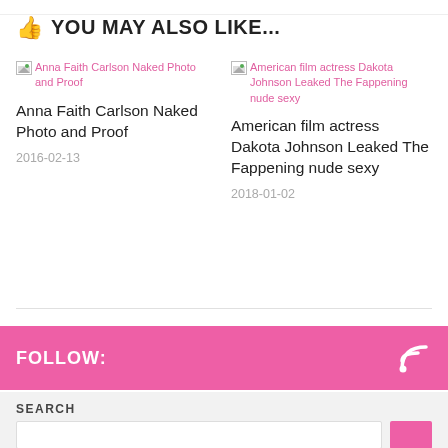👍 YOU MAY ALSO LIKE...
[Figure (photo): Broken image placeholder: Anna Faith Carlson Naked Photo and Proof]
Anna Faith Carlson Naked Photo and Proof
2016-02-13
[Figure (photo): Broken image placeholder: American film actress Dakota Johnson Leaked The Fappening nude sexy]
American film actress Dakota Johnson Leaked The Fappening nude sexy
2018-01-02
FOLLOW:
SEARCH